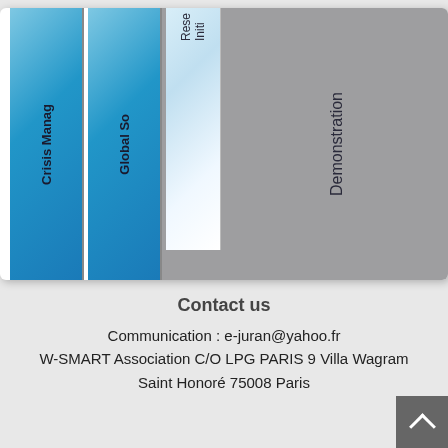[Figure (other): Partial view of a bar/column chart with rotated text labels. Visible columns include 'Crisis Manag[ement]' (blue), 'Global So[lutions]' (blue), 'Rese[arch] Initi[ative]' (faded/white), and 'Demonstration' (gray background area). The chart is cropped at the top showing only the bottom portion.]
Contact us
Communication : e-juran@yahoo.fr
W-SMART Association C/O LPG PARIS 9 Villa Wagram
Saint Honoré 75008 Paris